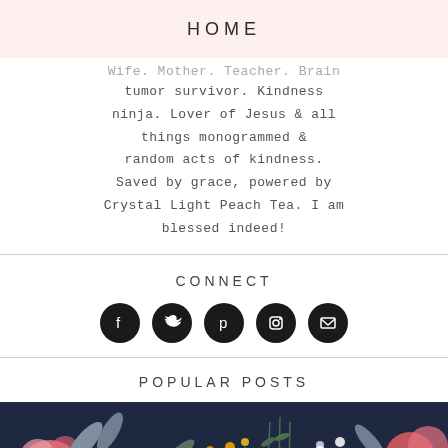HOME
Wife. Mother. Teacher. Brain tumor survivor. Kindness ninja. Lover of Jesus & all things monogrammed & random acts of kindness. Saved by grace, powered by Crystal Light Peach Tea. I am blessed indeed!
CONNECT
[Figure (infographic): Five black circular social media icons: Facebook, Twitter, Pinterest, Instagram, Email]
POPULAR POSTS
[Figure (photo): Floral pattern on dark navy background with pink roses, yellow wildflowers, white daisies, and green leaves]